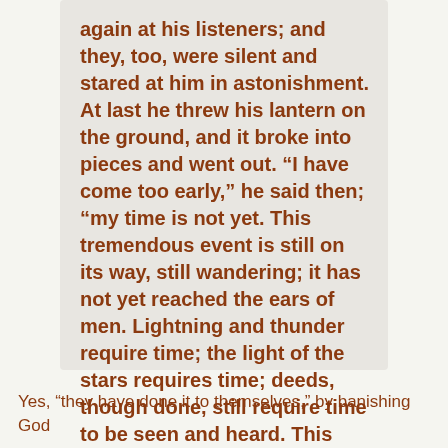again at his listeners; and they, too, were silent and stared at him in astonishment. At last he threw his lantern on the ground, and it broke into pieces and went out. “I have come too early,” he said then; “my time is not yet. This tremendous event is still on its way, still wandering; it has not yet reached the ears of men. Lightning and thunder require time; the light of the stars requires time; deeds, though done, still require time to be seen and heard. This deed is still more distant from them than most distant stars—and yet they have done it themselves.
Yes, “they have done it to themselves,” by banishing God